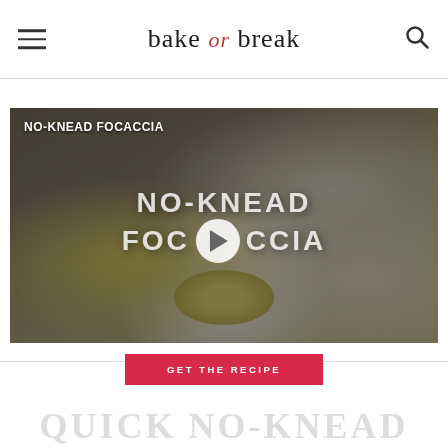bake or break
[Figure (screenshot): Video thumbnail for No-Knead Focaccia recipe with a play button overlay. Shows bread and a bowl of olive oil on a table. Text overlay reads NO-KNEAD FOCACCIA with a play button in the center.]
GET THE RECIPE
QUICK NO-KNEAD...